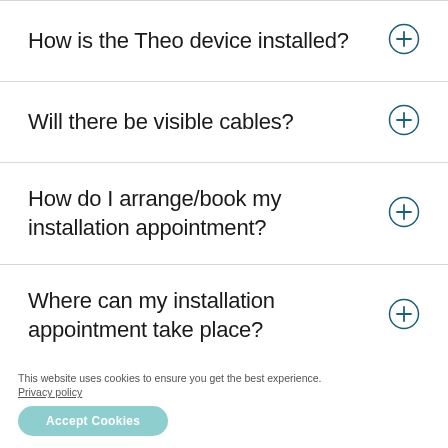How is the Theo device installed?
Will there be visible cables?
How do I arrange/book my installation appointment?
Where can my installation appointment take place?
This website uses cookies to ensure you get the best experience. Privacy policy
Accept Cookies